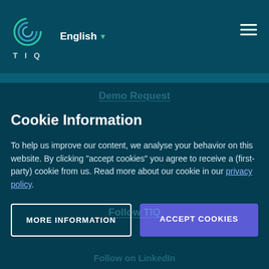TIQ — English ▼ [hamburger menu]
Careers
Resources
Terms And Conditions
Contact
Cookie Information
Demo Request
To help us improve our content, we analyse your behavior on this website. By clicking "accept cookies" you agree to receive a (first-party) cookie from us. Read more about our cookie in our privacy policy.
Follow TIQ
MORE INFORMATION
ACCEPT COOKIES
Follow on LinkedIn